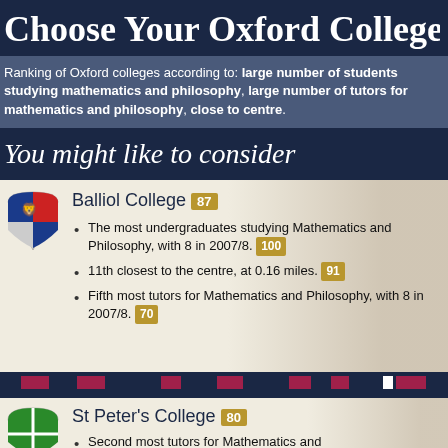Choose Your Oxford College
Ranking of Oxford colleges according to: large number of students studying mathematics and philosophy, large number of tutors for mathematics and philosophy, close to centre.
You might like to consider
Balliol College 87
The most undergraduates studying Mathematics and Philosophy, with 8 in 2007/8. 100
11th closest to the centre, at 0.16 miles. 91
Fifth most tutors for Mathematics and Philosophy, with 8 in 2007/8. 70
St Peter's College 80
Second most tutors for Mathematics and